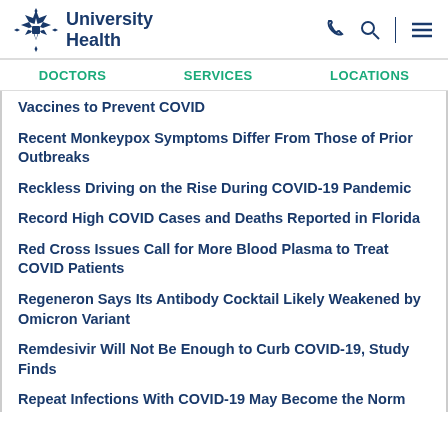University Health
DOCTORS   SERVICES   LOCATIONS
Vaccines to Prevent COVID
Recent Monkeypox Symptoms Differ From Those of Prior Outbreaks
Reckless Driving on the Rise During COVID-19 Pandemic
Record High COVID Cases and Deaths Reported in Florida
Red Cross Issues Call for More Blood Plasma to Treat COVID Patients
Regeneron Says Its Antibody Cocktail Likely Weakened by Omicron Variant
Remdesivir Will Not Be Enough to Curb COVID-19, Study Finds
Repeat Infections With COVID-19 May Become the Norm